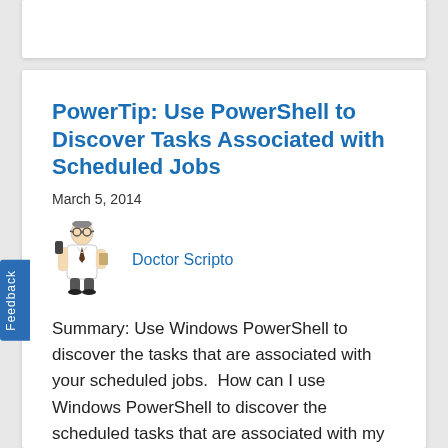PowerTip: Use PowerShell to Discover Tasks Associated with Scheduled Jobs
March 5, 2014
[Figure (illustration): Cartoon illustration of Doctor Scripto character — a small figure in a lab coat holding a phone]
Doctor Scripto
Summary: Use Windows PowerShell to discover the tasks that are associated with your scheduled jobs.  How can I use Windows PowerShell to discover the scheduled tasks that are associated with my scheduled jobs?  In Windows 8 or Windows Server 2012, use the Get-ScheduledTask cmdlet: £>  Get-